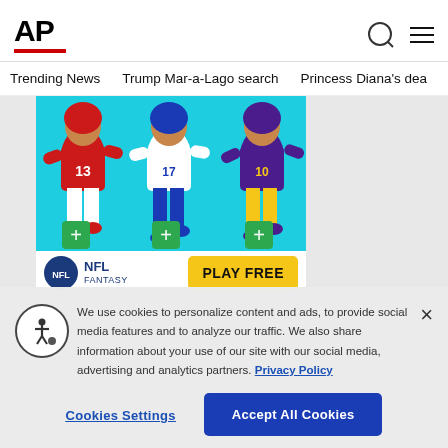AP
Trending News   Trump Mar-a-Lago search   Princess Diana's dea
[Figure (photo): NFL Fantasy Football advertisement banner showing three NFL players in uniform on a cyan background with green plus buttons, NFL Fantasy logo, and a yellow Play Free button]
We use cookies to personalize content and ads, to provide social media features and to analyze our traffic. We also share information about your use of our site with our social media, advertising and analytics partners. Privacy Policy
Cookies Settings
Accept All Cookies